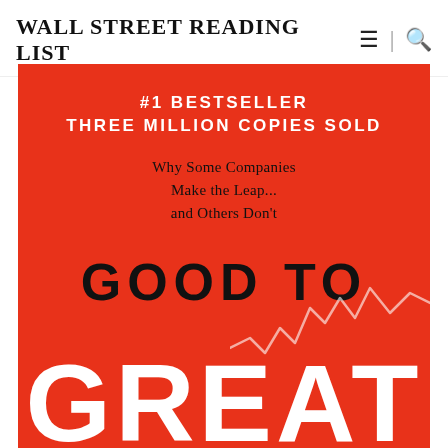WALL STREET READING LIST
[Figure (illustration): Book cover of 'Good to Great' by Jim Collins on a red background. White bold uppercase text reads '#1 BESTSELLER THREE MILLION COPIES SOLD'. Below in dark text: 'Why Some Companies Make the Leap... and Others Don't'. Large black bold text reads 'GOOD TO' and large white bold text reads 'GREAT' partially visible at bottom. A stock market line chart graphic appears in the lower right corner.]